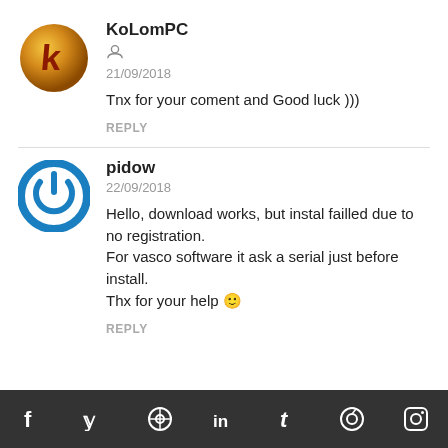KoLomPC
21/09/2018
Tnx for your coment and Good luck )))
REPLY
pidow
22/09/2018
Hello, download works, but instal failled due to no registration.
For vasco software it ask a serial just before install.
Thx for your help 🙂
REPLY
f  y  ⊕  in  t  ⊙  s